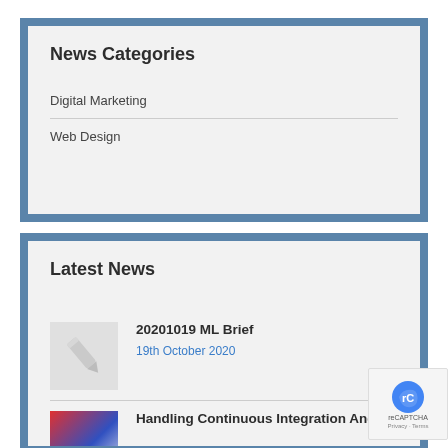News Categories
Digital Marketing
Web Design
Latest News
20201019 ML Brief
19th October 2020
Handling Continuous Integration And